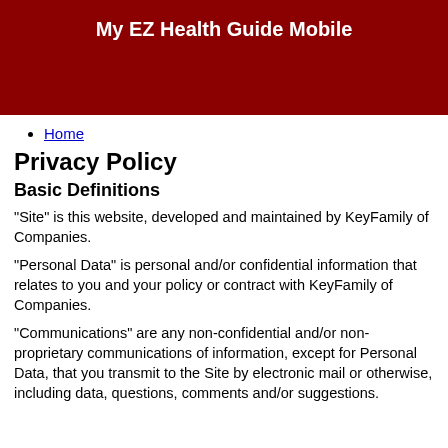My EZ Health Guide Mobile
Home
Privacy Policy
Basic Definitions
"Site" is this website, developed and maintained by KeyFamily of Companies.
"Personal Data" is personal and/or confidential information that relates to you and your policy or contract with KeyFamily of Companies.
"Communications" are any non-confidential and/or non-proprietary communications of information, except for Personal Data, that you transmit to the Site by electronic mail or otherwise, including data, questions, comments and/or suggestions.